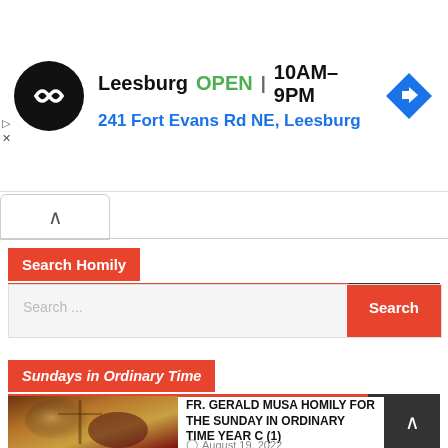[Figure (infographic): Advertisement banner for Leesburg store: circular black logo with double arrow, store name, open status, hours, address, and blue navigation diamond icon]
Search Homily
[Figure (screenshot): Search input box with placeholder 'Search...' and an orange 'Search' button]
Sundays in Ordinary Time
[Figure (photo): Religious painting thumbnail showing Jesus on the cross with figures around]
FR. GERALD MUSA HOMILY FOR THE SUNDAY IN ORDINARY TIME YEAR C (1)
August 19, 2022